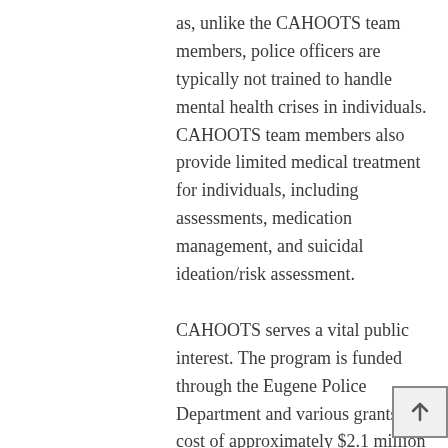as, unlike the CAHOOTS team members, police officers are typically not trained to handle mental health crises in individuals. CAHOOTS team members also provide limited medical treatment for individuals, including assessments, medication management, and suicidal ideation/risk assessment.
CAHOOTS serves a vital public interest. The program is funded through the Eugene Police Department and various grants at a cost of approximately $2.1 million per year. However, by freeing up law enforcement to respond to emergency calls involving criminal